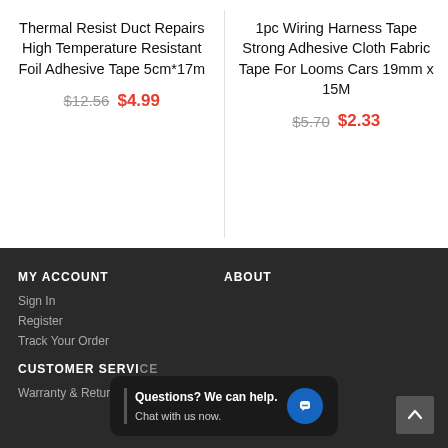Thermal Resist Duct Repairs High Temperature Resistant Foil Adhesive Tape 5cm*17m
$12.56  $4.99
1pc Wiring Harness Tape Strong Adhesive Cloth Fabric Tape For Looms Cars 19mm x 15M
$5.70  $2.33
MY ACCOUNT
ABOUT
Sign In
Register
Track Your Order
CUSTOMER SERVICE
Warranty & Return Policy
The cookie settings on this website are set to 'allow all cookies' to give you the very best experience. Please click Accept Cookies to continue to use the site.
Questions? We can help.
Chat with us now.